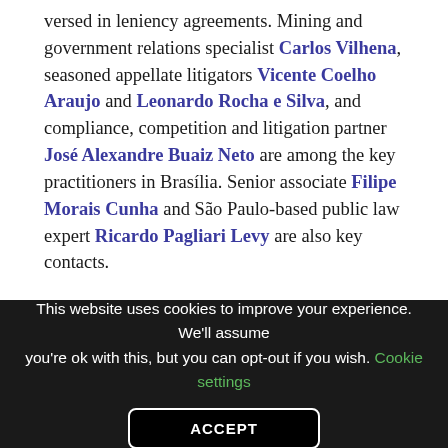versed in leniency agreements. Mining and government relations specialist Carlos Vilhena, seasoned appellate litigators Vicente Coelho Araujo and Leonardo Rocha e Silva, and compliance, competition and litigation partner José Alexandre Buaiz Neto are among the key practitioners in Brasília. Senior associate Filipe Morais Cunha and São Paulo-based public law expert Ricardo Pagliari Levy are also key contacts.
Testimonials
[Truncated/faded line at bottom of visible area]
This website uses cookies to improve your experience. We'll assume you're ok with this, but you can opt-out if you wish. Cookie settings ACCEPT